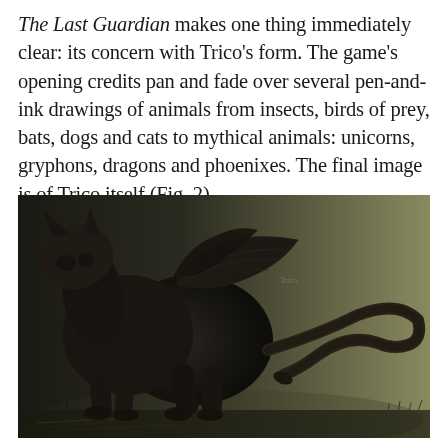The Last Guardian makes one thing immediately clear: its concern with Trico's form. The game's opening credits pan and fade over several pen-and-ink drawings of animals from insects, birds of prey, bats, dogs and cats to mythical animals: unicorns, gryphons, dragons and phoenixes. The final image is of Trico itself (Fig. 2).
[Figure (illustration): A pen-and-ink style drawing of Trico, a large fantastical creature resembling a cat or dog with wings, standing on a rocky surface. The creature has a long tail, feathered/furry body, and a bird-like head. The background transitions from dark on the left to a lighter olive/tan on the right. The word 'Trico' appears faintly in the upper right area of the image.]